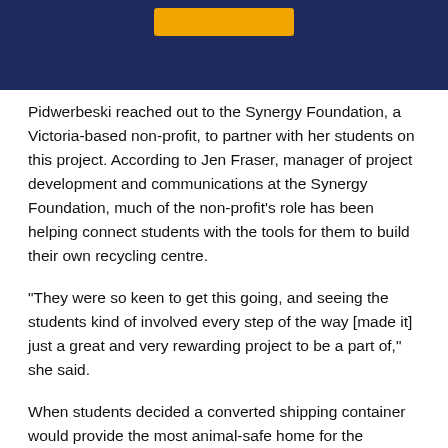[Figure (other): Dark navy blue banner header with an orange/yellow rectangular button element near the top center]
Pidwerbeski reached out to the Synergy Foundation, a Victoria-based non-profit, to partner with her students on this project. According to Jen Fraser, manager of project development and communications at the Synergy Foundation, much of the non-profit’s role has been helping connect students with the tools for them to build their own recycling centre.
“They were so keen to get this going, and seeing the students kind of involved every step of the way [made it] just a great and very rewarding project to be a part of,” she said.
When students decided a converted shipping container would provide the most animal-safe home for the recycling centre,